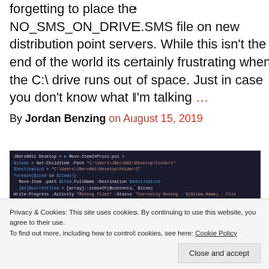forgetting to place the NO_SMS_ON_DRIVE.SMS file on new distribution point servers. While this isn't the end of the world its certainly frustrating when the C:\ drive runs out of space. Just in case you don't know what I'm talking …
By Jordan Benzing on August 15, 2019
[Figure (screenshot): PowerShell or terminal code editor screenshot showing dark background with colored syntax-highlighted code lines]
Privacy & Cookies: This site uses cookies. By continuing to use this website, you agree to their use. To find out more, including how to control cookies, see here: Cookie Policy
Close and accept